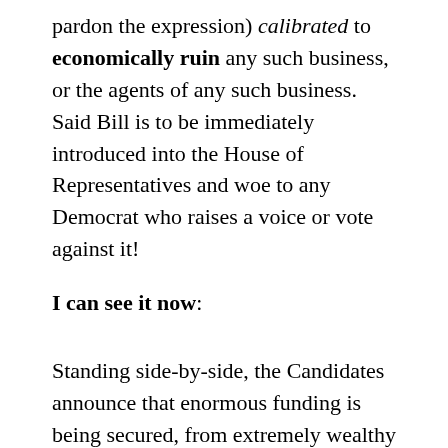pardon the expression) calibrated to economically ruin any such business, or the agents of any such business.  Said Bill is to be immediately introduced into the House of Representatives and woe to any Democrat who raises a voice or vote against it!
I can see it now:
Standing side-by-side, the Candidates announce that enormous funding is being secured, from extremely wealthy individuals, as well as a significant assemblage of sane corporations, and there will be enough money to launch a massive, loud and relentless campaign to make it very uncomfortable (read